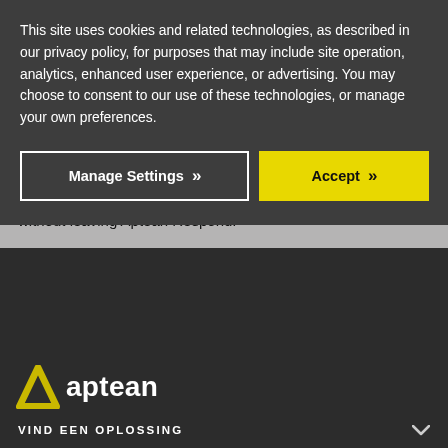This site uses cookies and related technologies, as described in our privacy policy, for purposes that may include site operation, analytics, enhanced user experience, or advertising. You may choose to consent to our use of these technologies, or manage your own preferences.
Manage Settings >>
Accept >>
allows for monitoring of accounts and sentiment analysis, without leaving Aptean Respond.
[Figure (logo): Aptean logo: yellow triangle/arrow icon followed by 'aptean' in white bold text on dark background]
VIND EEN OPLOSSING
ONZE ORGANISATIE
KLANTENSERVICE